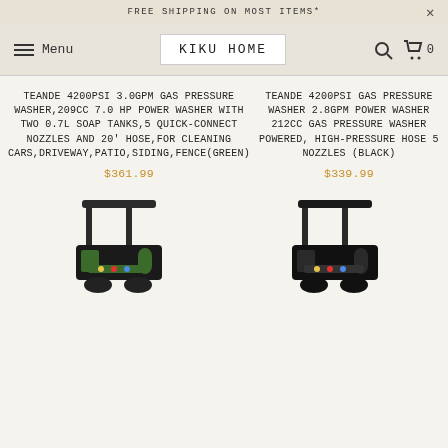FREE SHIPPING ON MOST ITEMS*
KIKU HOME  Menu
TEANDE 4200PSI 3.0GPM GAS PRESSURE WASHER,209CC 7.0 HP POWER WASHER WITH TWO 0.7L SOAP TANKS,5 QUICK-CONNECT NOZZLES AND 20' HOSE,FOR CLEANING CARS,DRIVEWAY,PATIO,SIDING,FENCE(GREEN)
$361.99
TEANDE 4200PSI GAS PRESSURE WASHER 2.8GPM POWER WASHER 212CC GAS PRESSURE WASHER POWERED, HIGH-PRESSURE HOSE 5 NOZZLES (BLACK)
$339.99
[Figure (photo): Green gas pressure washer product photo]
[Figure (photo): Black gas pressure washer product photo]